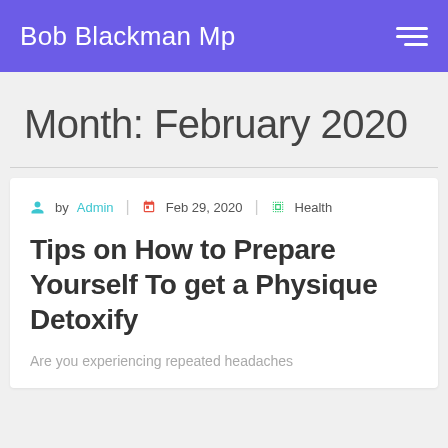Bob Blackman Mp
Month: February 2020
by Admin | Feb 29, 2020 | Health
Tips on How to Prepare Yourself To get a Physique Detoxify
Are you experiencing repeated headaches